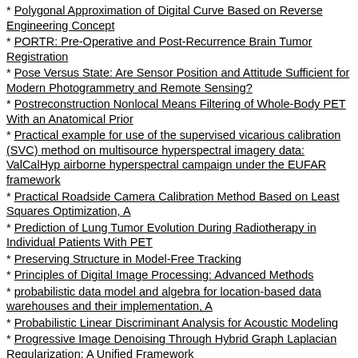* Polygonal Approximation of Digital Curve Based on Reverse Engineering Concept
* PORTR: Pre-Operative and Post-Recurrence Brain Tumor Registration
* Pose Versus State: Are Sensor Position and Attitude Sufficient for Modern Photogrammetry and Remote Sensing?
* Postreconstruction Nonlocal Means Filtering of Whole-Body PET With an Anatomical Prior
* Practical example for use of the supervised vicarious calibration (SVC) method on multisource hyperspectral imagery data: ValCalHyp airborne hyperspectral campaign under the EUFAR framework
* Practical Roadside Camera Calibration Method Based on Least Squares Optimization, A
* Prediction of Lung Tumor Evolution During Radiotherapy in Individual Patients With PET
* Preserving Structure in Model-Free Tracking
* Principles of Digital Image Processing: Advanced Methods
* probabilistic data model and algebra for location-based data warehouses and their implementation, A
* Probabilistic Linear Discriminant Analysis for Acoustic Modeling
* Progressive Image Denoising Through Hybrid Graph Laplacian Regularization: A Unified Framework